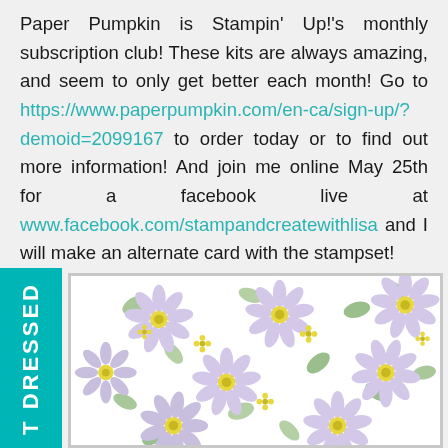Paper Pumpkin is Stampin' Up!'s monthly subscription club! These kits are always amazing, and seem to only get better each month! Go to https://www.paperpumpkin.com/en-ca/sign-up/?demoid=2099167 to order today or to find out more information! And join me online May 25th for a facebook live at www.facebook.com/stampandcreatewithlisa and I will make an alternate card with the stampset!
[Figure (photo): A floral patterned card with lavender daisy-like flowers, green leaves, and yellow centers on white background. A teal banner on the left side reads 'T DRESSED' vertically in white bold text.]